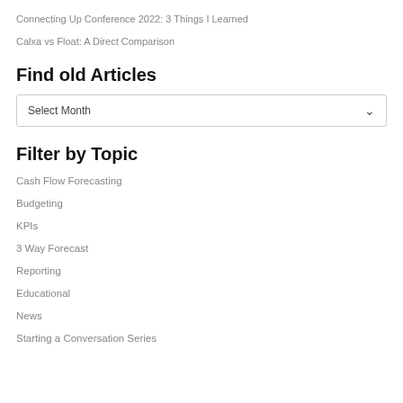Connecting Up Conference 2022: 3 Things I Learned
Calxa vs Float: A Direct Comparison
Find old Articles
Select Month
Filter by Topic
Cash Flow Forecasting
Budgeting
KPIs
3 Way Forecast
Reporting
Educational
News
Starting a Conversation Series